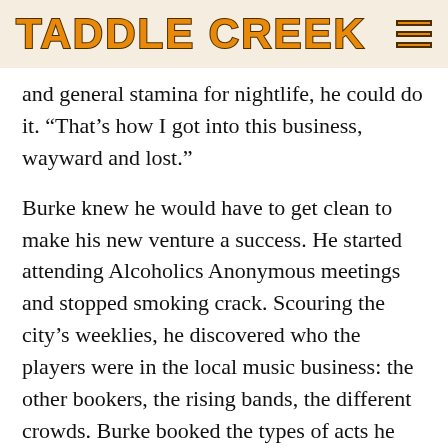TADDLE CREEK
and general stamina for nightlife, he could do it. “That’s how I got into this business, wayward and lost.”
Burke knew he would have to get clean to make his new venture a success. He started attending Alcoholics Anonymous meetings and stopped smoking crack. Scouring the city’s weeklies, he discovered who the players were in the local music business: the other bookers, the rising bands, the different crowds. Burke booked the types of acts he related to most: down-and-dirty